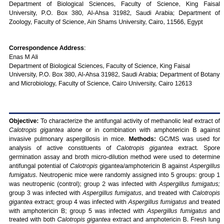Department of Biological Sciences, Faculty of Science, King Faisal University, P.O. Box 380, Al-Ahsa 31982, Saudi Arabia; Department of Zoology, Faculty of Science, Ain Shams University, Cairo, 11566, Egypt
Correspondence Address: Enas M Ali Department of Biological Sciences, Faculty of Science, King Faisal University, P.O. Box 380, Al-Ahsa 31982, Saudi Arabia; Department of Botany and Microbiology, Faculty of Science, Cairo University, Cairo 12613
Objective: To characterize the antifungal activity of methanolic leaf extract of Calotropis gigantea alone or in combination with amphotericin B against invasive pulmonary aspergillosis in mice. Methods: GC/MS was used for analysis of active constituents of Calotropis gigantea extract. Spore germination assay and broth micro-dilution method were used to determine antifungal potential of Calotropis gigantea/amphotericin B against Aspergillus fumigatus. Neutropenic mice were randomly assigned into 5 groups: group 1 was neutropenic (control); group 2 was infected with Aspergillus fumigatus; group 3 was infected with Aspergillus fumigatus, and treated with Calotropis gigantea extract; group 4 was infected with Aspergillus fumigatus and treated with amphotericin B; group 5 was infected with Aspergillus fumigatus and treated with both Calotropis gigantea extract and amphotericin B. Fresh lung tissues were histopathologically examined. Fungal burden and gliotoxin concentration were evaluated in lung tissues. Catalase, superoxide dismutase, and malondialdehyde content were determined in lung tissues. Myeloperoxidase, tumor necrosis factor-alpha, interleukin-1, and interleukin-17 were also estimated by the sandwich enzyme-linked immuno-sorbent assay. Results: Calotropis gigantea/amphotericin B had a minimum inhibitory concentration and